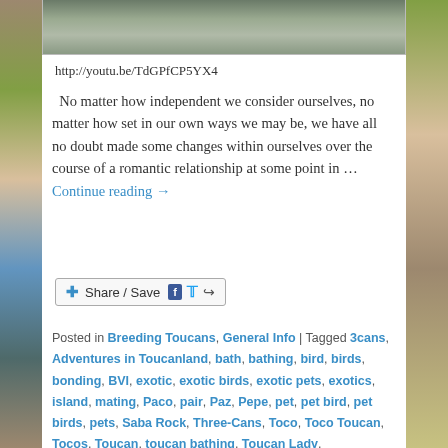[Figure (photo): Top portion of a photo showing what appears to be a bird bath or container, partially cropped]
http://youtu.be/TdGPfCP5YX4
No matter how independent we consider ourselves, no matter how set in our own ways we may be, we have all no doubt made some changes within ourselves over the course of a romantic relationship at some point in … Continue reading →
[Figure (other): Share / Save social media button bar with Facebook, Twitter, and share icons]
Posted in Breeding Toucans, General Info | Tagged 3cans, Adventures in Toucanland, bath, bathing, bird, birds, bonding, BVI, exotic, exotic birds, exotic pets, exotics, island, mating, Paco, pair, Paz, Pepe, pet, pet bird, pet birds, pets, Saba Rock, Three-Cans, Toco, Toco Toucan, Tocos, Toucan, toucan bathing, Toucan Lady, ToucanLady, toucanland, toucans, training, tropical birds, tucan, tucans | 2 Replies